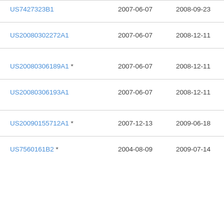| Patent Number | Filing Date | Publication Date | Assignee |
| --- | --- | --- | --- |
| US7427323B1 | 2007-06-07 | 2008-09-23 | Xer |
| US20080302272A1 | 2007-06-07 | 2008-12-11 | Xer |
| US20080306189A1 * | 2007-06-07 | 2008-12-11 | Xer |
| US20080306193A1 | 2007-06-07 | 2008-12-11 | Xer |
| US20090155712A1 * | 2007-12-13 | 2009-06-18 | Xer |
| US7560161B2 * | 2004-08-09 | 2009-07-14 | Xer |